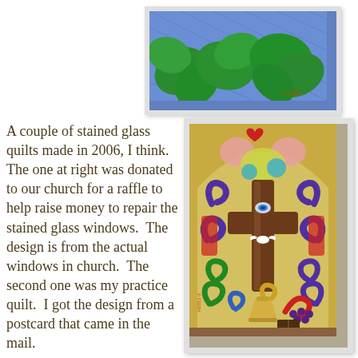[Figure (photo): Top portion of a quilt with green leaf/clover shapes on a blue background, partially cropped at top of page]
A couple of stained glass quilts made in 2006, I think. The one at right was donated to our church for a raffle to help raise money to repair the stained glass windows. The design is from the actual windows in church. The second one was my practice quilt. I got the design from a postcard that came in the mail.
[Figure (photo): A stained glass style quilt depicting a church window design with a wooden cross in the center, colorful swirling patterns in purple, red, green and blue, with a dove, grapes, and chalice at the bottom, and heart shapes at the top]